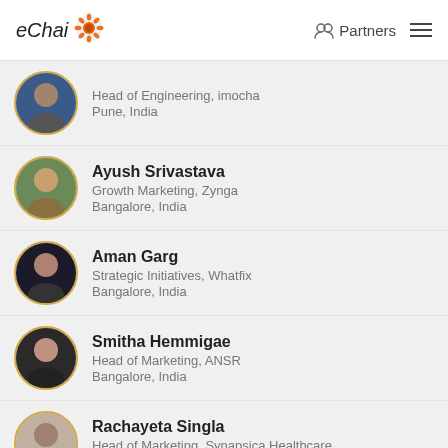eChai Partners
Head of Engineering, imocha
Pune, India
Ayush Srivastava
Growth Marketing, Zynga
Bangalore, India
Aman Garg
Strategic Initiatives, Whatfix
Bangalore, India
Smitha Hemmigae
Head of Marketing, ANSR
Bangalore, India
Rachayeta Singla
Head of Marketing, Synapsica Healthcare
Bangalore, India
Yogini Bende
Co-Founder, Peerlist
Pune, India